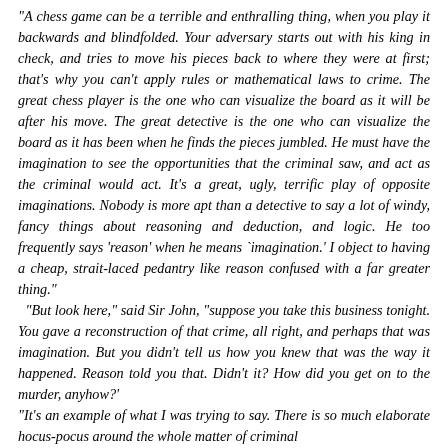"A chess game can be a terrible and enthralling thing, when you play it backwards and blindfolded. Your adversary starts out with his king in check, and tries to move his pieces back to where they were at first; that's why you can't apply rules or mathematical laws to crime. The great chess player is the one who can visualize the board as it will be after his move. The great detective is the one who can visualize the board as it has been when he finds the pieces jumbled. He must have the imagination to see the opportunities that the criminal saw, and act as the criminal would act. It's a great, ugly, terrific play of opposite imaginations. Nobody is more apt than a detective to say a lot of windy, fancy things about reasoning and deduction, and logic. He too frequently says 'reason' when he means `imagination.' I object to having a cheap, strait-laced pedantry like reason confused with a far greater thing."
  "But look here," said Sir John, "suppose you take this business tonight. You gave a reconstruction of that crime, all right, and perhaps that was imagination. But you didn't tell us how you knew that was the way it happened. Reason told you that. Didn't it? How did you get on to the murder, anyhow?'
"It's an example of what I was trying to say. There is so much elaborate hocus-pocus around the whole matter of criminal